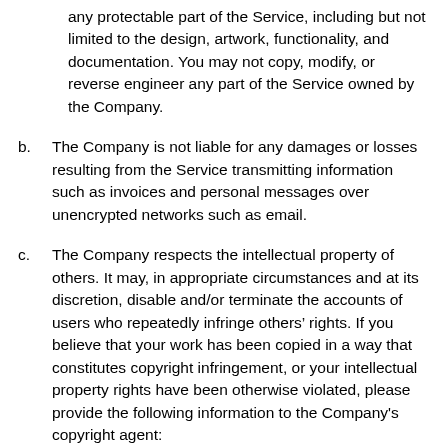any protectable part of the Service, including but not limited to the design, artwork, functionality, and documentation. You may not copy, modify, or reverse engineer any part of the Service owned by the Company.
b. The Company is not liable for any damages or losses resulting from the Service transmitting information such as invoices and personal messages over unencrypted networks such as email.
c. The Company respects the intellectual property of others. It may, in appropriate circumstances and at its discretion, disable and/or terminate the accounts of users who repeatedly infringe others' rights. If you believe that your work has been copied in a way that constitutes copyright infringement, or your intellectual property rights have been otherwise violated, please provide the following information to the Company's copyright agent:
i. an electronic or physical signature of the person authorized to act on behalf of the